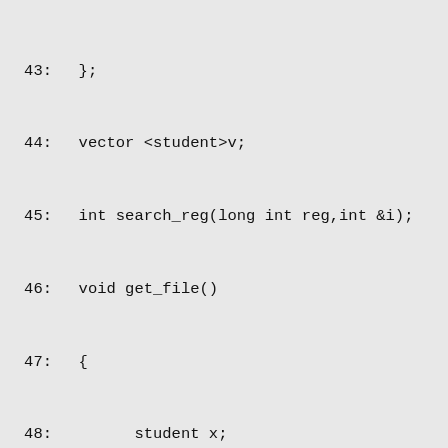43:   };
44:   vector <student>v;
45:   int search_reg(long int reg,int &i);
46:   void get_file()
47:   {
48:         student x;
49:         int i=0;
50:         fstream f;
51:         f.open("College.txt",ios::in);
52:         if(f)
53:         {
54:               f.read((char *) &x,sizeof(cl
55:               while(!f.eof())
56:               {
57:                     v.push_back(x);
58:                     f.read((char *) &x,size
59:               }
60:         }
61:         else
62:               ;
63:         f.close();
64:   }
65:   void bubblesort()